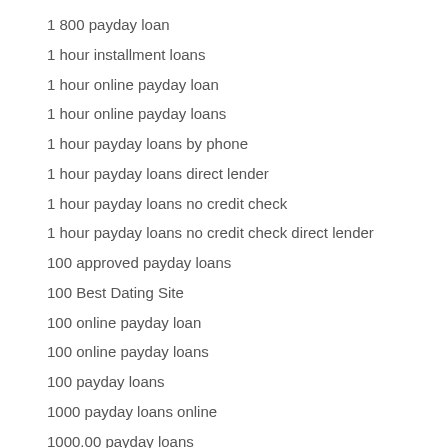1 800 payday loan
1 hour installment loans
1 hour online payday loan
1 hour online payday loans
1 hour payday loans by phone
1 hour payday loans direct lender
1 hour payday loans no credit check
1 hour payday loans no credit check direct lender
100 approved payday loans
100 Best Dating Site
100 online payday loan
100 online payday loans
100 payday loans
1000 payday loans online
1000.00 payday loans